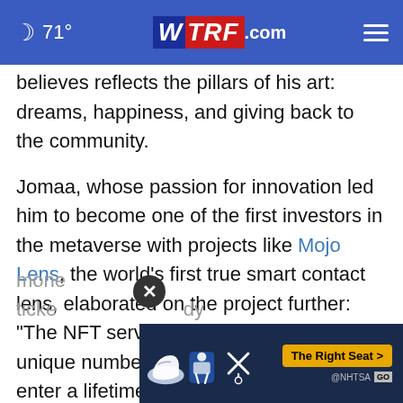71° WTRF.com
believes reflects the pillars of his art: dreams, happiness, and giving back to the community.
Jomaa, whose passion for innovation led him to become one of the first investors in the metaverse with projects like Mojo Lens, the world's first true smart contact lens, elaborated on the project further: "The NFT serves as a ticket that holds a unique number, allowing its owner to enter a lifetime weekly draw for prize mone... ticke... dy
[Figure (infographic): NHTSA advertisement banner: 'The Right Seat' with car seat safety icons on dark blue background]